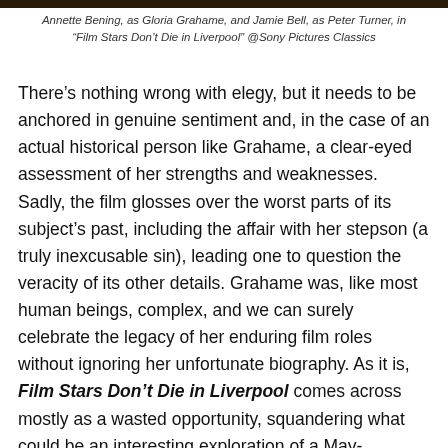Annette Bening, as Gloria Grahame, and Jamie Bell, as Peter Turner, in “Film Stars Don’t Die in Liverpool” @Sony Pictures Classics
There’s nothing wrong with elegy, but it needs to be anchored in genuine sentiment and, in the case of an actual historical person like Grahame, a clear-eyed assessment of her strengths and weaknesses. Sadly, the film glosses over the worst parts of its subject’s past, including the affair with her stepson (a truly inexcusable sin), leading one to question the veracity of its other details. Grahame was, like most human beings, complex, and we can surely celebrate the legacy of her enduring film roles without ignoring her unfortunate biography. As it is, Film Stars Don’t Die in Liverpool comes across mostly as a wasted opportunity, squandering what could be an interesting exploration of a May-September romance (with the usual genders reversed) by devolving into a half-baked tribute to a controversial figure. Turner can keep his